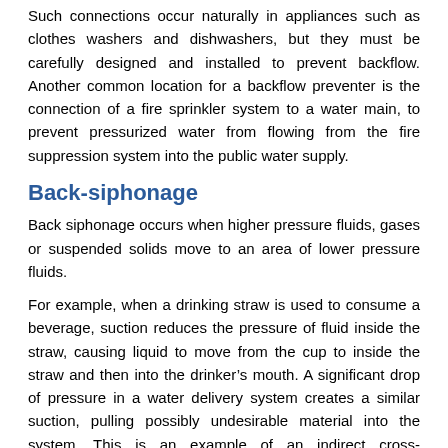Such connections occur naturally in appliances such as clothes washers and dishwashers, but they must be carefully designed and installed to prevent backflow. Another common location for a backflow preventer is the connection of a fire sprinkler system to a water main, to prevent pressurized water from flowing from the fire suppression system into the public water supply.
Back-siphonage
Back siphonage occurs when higher pressure fluids, gases or suspended solids move to an area of lower pressure fluids.
For example, when a drinking straw is used to consume a beverage, suction reduces the pressure of fluid inside the straw, causing liquid to move from the cup to inside the straw and then into the drinker’s mouth. A significant drop of pressure in a water delivery system creates a similar suction, pulling possibly undesirable material into the system. This is an example of an indirect cross-connection.